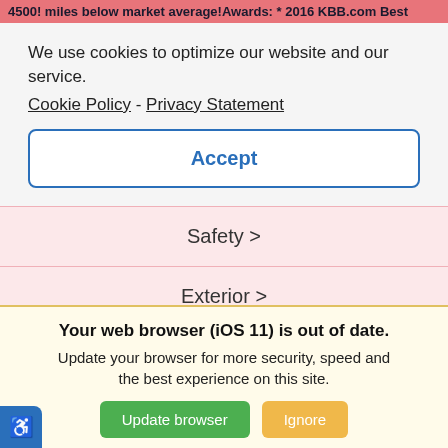4500! miles below market average!Awards: * 2016 KBB.com Best
We use cookies to optimize our website and our service.
Cookie Policy - Privacy Statement
Accept
Safety >
Exterior >
PRICE LISTED IS MANUFACTURER SUGGESTED RETAIL PRICE. ALL NEW CARS ARE SUBJECT TO DEALER MARK-UP. Price does not include dealer or vendor added upgrades, accessories, or
Your web browser (iOS 11) is out of date. Update your browser for more security, speed and the best experience on this site.
Update browser   Ignore